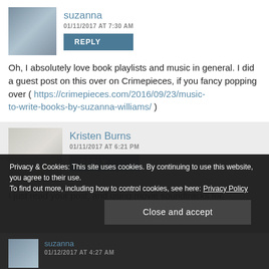[Figure (photo): Avatar photo of suzanna - person outdoors]
suzanna
01/11/2017 AT 7:30 AM
REPLY
Oh, I absolutely love book playlists and music in general. I did a guest post on this over on Crimepieces, if you fancy popping over ( https://crimepieces.com/2016/09/23/music-to-write-books-by-suzanna-williams/ )
[Figure (photo): Avatar photo of Kristen Burns - person in black top]
Kristen Burns
01/11/2017 AT 6:21 PM
REPLY
I just read your post, and using movie soundtracks for
Privacy & Cookies: This site uses cookies. By continuing to use this website, you agree to their use.
To find out more, including how to control cookies, see here: Privacy Policy
Close and accept
[Figure (photo): Avatar photo of suzanna at bottom]
suzanna
01/12/2017 AT 4:27 AM